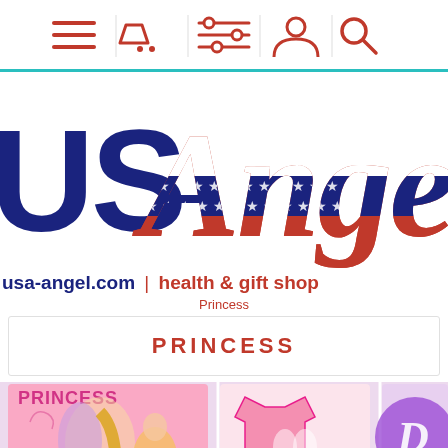Navigation bar with menu, cart, filter, account, search icons
[Figure (logo): USAngel logo with American flag stars-and-stripes pattern on the text 'Angel' in script, and 'US' in bold sans-serif. Red, white, blue colors.]
usa-angel.com | health & gift shop
Princess
PRINCESS
[Figure (photo): Product images strip showing Disney Princess products: a pink poster with Rapunzel and Belle, a pink t-shirt with princess characters, and a Disney logo medallion.]